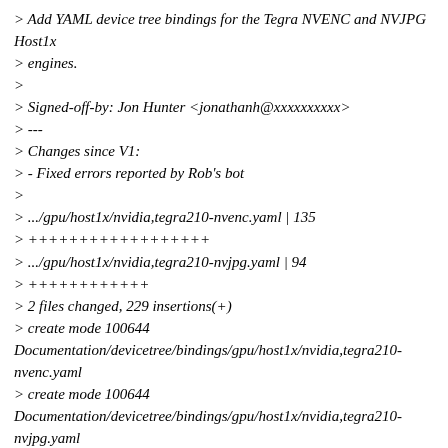> Add YAML device tree bindings for the Tegra NVENC and NVJPG Host1x
> engines.
>
> Signed-off-by: Jon Hunter <jonathanh@xxxxxxxxxx>
> ---
> Changes since V1:
> - Fixed errors reported by Rob's bot
>
> .../gpu/host1x/nvidia,tegra210-nvenc.yaml | 135
> ++++++++++++++++++
> .../gpu/host1x/nvidia,tegra210-nvjpg.yaml | 94
> ++++++++++++
> 2 files changed, 229 insertions(+)
> create mode 100644 Documentation/devicetree/bindings/gpu/host1x/nvidia,tegra210-nvenc.yaml
> create mode 100644 Documentation/devicetree/bindings/gpu/host1x/nvidia,tegra210-nvjpg.yaml
>
My bot found errors running 'make DT_CHECKER_FLAGS=-m dt_binding_check'
on your patch (DT_CHECKER_FLAGS is new in v5.13):